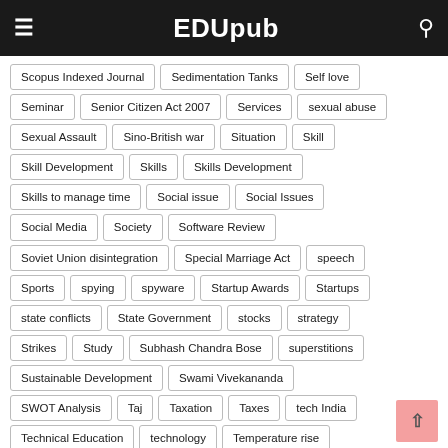EDUpub
Scopus Indexed Journal
Sedimentation Tanks
Self love
Seminar
Senior Citizen Act 2007
Services
sexual abuse
Sexual Assault
Sino-British war
Situation
Skill
Skill Development
Skills
Skills Development
Skills to manage time
Social issue
Social Issues
Social Media
Society
Software Review
Soviet Union disintegration
Special Marriage Act
speech
Sports
spying
spyware
Startup Awards
Startups
state conflicts
State Government
stocks
strategy
Strikes
Study
Subhash Chandra Bose
superstitions
Sustainable Development
Swami Vivekananda
SWOT Analysis
Taj
Taxation
Taxes
tech India
Technical Education
technology
Temperature rise